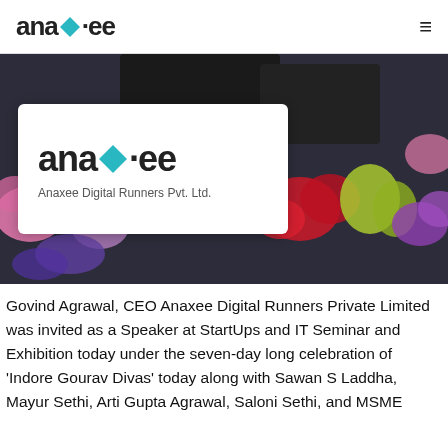ana◇·ee [logo] [hamburger menu]
[Figure (photo): Event photo showing floral arrangements with pink, red, and purple flowers on a dark background stage setting. In the lower-left, a white card displays the Anaxee Digital Runners logo with text 'Anaxee Digital Runners Pvt. Ltd.']
Govind Agrawal, CEO Anaxee Digital Runners Private Limited was invited as a Speaker at StartUps and IT Seminar and Exhibition today under the seven-day long celebration of 'Indore Gourav Divas' today along with Sawan S Laddha, Mayur Sethi, Arti Gupta Agrawal, Saloni Sethi, and MSME